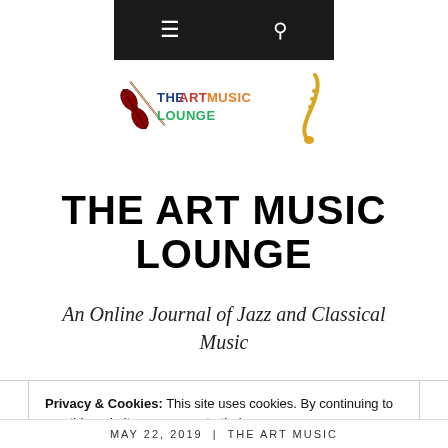Navigation bar with menu and search icons
[Figure (logo): The Art Music Lounge logo with violin and saxophone graphics and colorful text]
THE ART MUSIC LOUNGE
An Online Journal of Jazz and Classical Music
Privacy & Cookies: This site uses cookies. By continuing to use this website, you agree to their use. To find out more, including how to control cookies, see here: Cookie Policy
MAY 22, 2019 | THE ART MUSIC